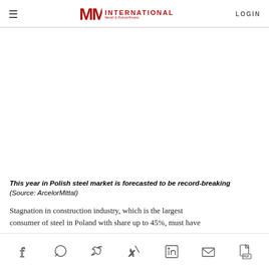MM INTERNATIONAL | LOGIN
[Figure (photo): Image placeholder area showing a steel market related photo (blank/white in this rendering)]
This year in Polish steel market is forecasted to be record-breaking (Source: ArcelorMittal)
Stagnation in construction industry, which is the largest consumer of steel in Poland with share up to 45%, must have
Social sharing icons: Facebook, WhatsApp, Twitter, Xing, LinkedIn, Email, PDF